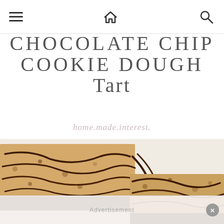Navigation bar with hamburger menu, home icon, search icon
CHOCOLATE CHIP COOKIE DOUGH Tart
home.made.interest.
[Figure (photo): Close-up photograph of chocolate chip cookie dough tarts with dark chocolate crust drizzled with chocolate sauce]
[Figure (photo): Advertisement banner at the bottom of the page with close (X) button]